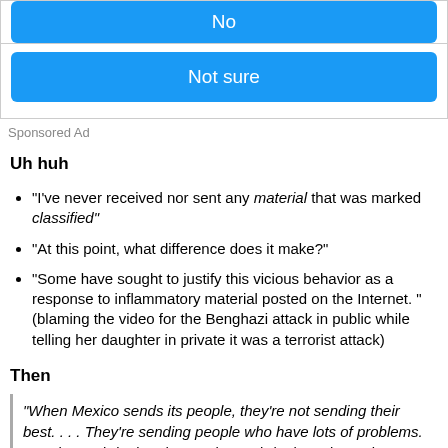[Figure (other): Blue button labeled 'No' (partially visible at top)]
[Figure (other): Blue button labeled 'Not sure']
Sponsored Ad
Uh huh
“I’ve never received nor sent any material that was marked classified”
“At this point, what difference does it make?”
“Some have sought to justify this vicious behavior as a response to inflammatory material posted on the Internet. ” (blaming the video for the Benghazi attack in public while telling her daughter in private it was a terrorist attack)
Then
“When Mexico sends its people, they’re not sending their best. . . . They’re sending people who have lots of problems. . . . They’re bringing drugs. They’re bringing crime. They’re rapists. And some, I assume, are good people.”